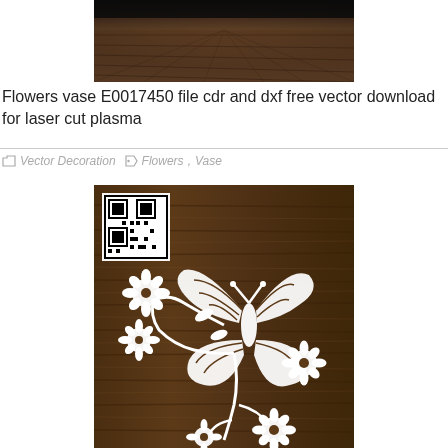[Figure (photo): Wooden floor background with dark vignette at top, planks perspective view]
Flowers vase E0017450 file cdr and dxf free vector download for laser cut plasma
Vector Decoration   Flowers, Vase
[Figure (photo): Laser cut design on dark wood background showing a butterfly with flowers and floral branches in white cutout silhouette style, with QR code in top left corner]